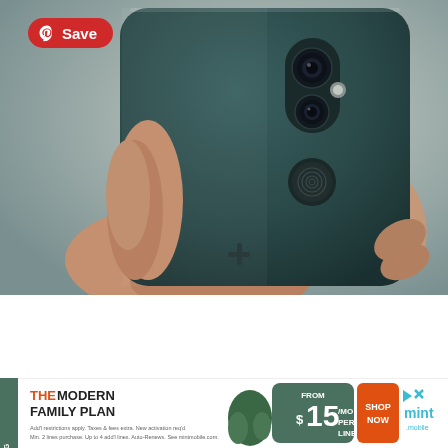[Figure (photo): A hand holding a dark green/teal OnePlus 6 smartphone showing its back, with dual cameras, fingerprint sensor, and OnePlus logo visible. A red Pinterest Save button overlay appears in the top-left corner.]
[Figure (infographic): Advertisement banner for Mint Mobile: 'INTRODUCING - THE MODERN FAMILY PLAN - FROM $15/MO PER LINE - SHOP NOW' with Mint Mobile logo. Green and orange color scheme.]